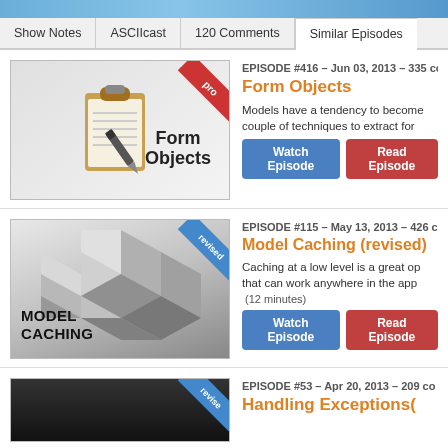[Figure (screenshot): Top image strip showing water/ocean background]
Show Notes | ASCIIcast | 120 Comments | Similar Episodes
[Figure (illustration): Form Objects episode thumbnail with clipboard and pen icon and red pro ribbon]
EPISODE #416 – Jun 03, 2013 – 335 co
Form Objects
Models have a tendency to become couple of techniques to extract for
Watch Episode | Read Episode
[Figure (illustration): Model Caching episode thumbnail with geometric cube shapes and blue revised ribbon]
EPISODE #115 – May 13, 2013 – 426 c
Model Caching (revised)
Caching at a low level is a great op that can work anywhere in the app (12 minutes)
Watch Episode | Read Episode
[Figure (illustration): Handling Exceptions episode thumbnail partial view with dark background and blue revised ribbon]
EPISODE #53 – Apr 20, 2013 – 209 co
Handling Exceptions(